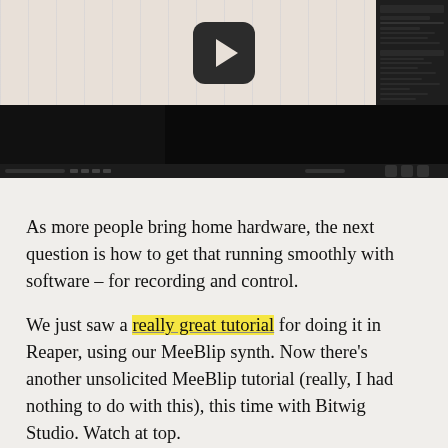[Figure (screenshot): Video thumbnail/screenshot of Bitwig Studio DAW software with a YouTube-style play button overlay. The top portion shows a music production interface with a light pinkish-beige background and vertical grid lines. The bottom portion shows a dark mixer/editor view. A dark sidebar panel is visible on the right.]
As more people bring home hardware, the next question is how to get that running smoothly with software – for recording and control.
We just saw a really great tutorial for doing it in Reaper, using our MeeBlip synth. Now there's another unsolicited MeeBlip tutorial (really, I had nothing to do with this), this time with Bitwig Studio. Watch at top.
Some nice mobile hardware in general, too – the Keith McMillen K-Board is definitely the smallest effective keyboard I've found, plus the KORG nanoPAD2, the best